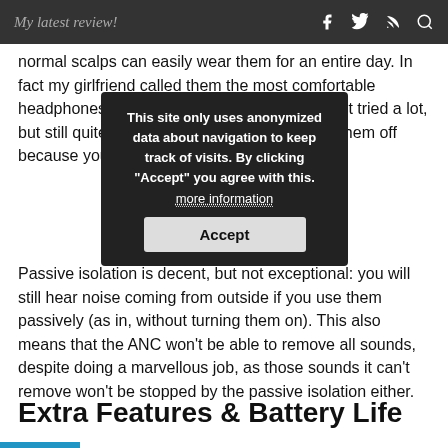My latest review!
normal scalps can easily wear them for an entire day. In fact my girlfriend called them the most comfortable headphones she ever tried (granted, she hasn't tried a lot, but still quite meaningful), adding “I only take them off because you need them”.
This site only uses anonymized data about navigation to keep track of visits. By clicking "Accept" you agree with this. more information
Passive isolation is decent, but not exceptional: you will still hear noise coming from outside if you use them passively (as in, without turning them on). This also means that the ANC won’t be able to remove all sounds, despite doing a marvellous job, as those sounds it can’t remove won’t be stopped by the passive isolation either.
Extra Features & Battery Life